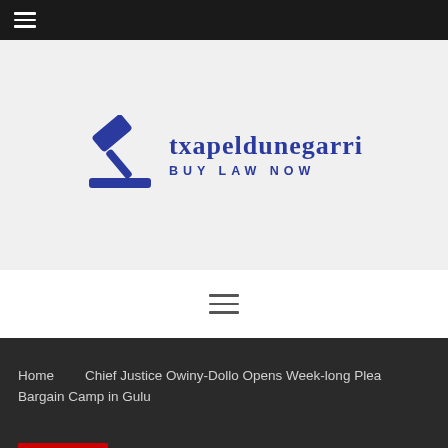≡ (hamburger menu icon, top nav bar)
[Figure (logo): txapeldunegarri BUY LAW NOW logo with gavel icon on grey background]
≡ (hamburger menu icon, white bar)
Home  |  Chief Justice Owiny-Dollo Opens Week-long Plea Bargain Camp in Gulu